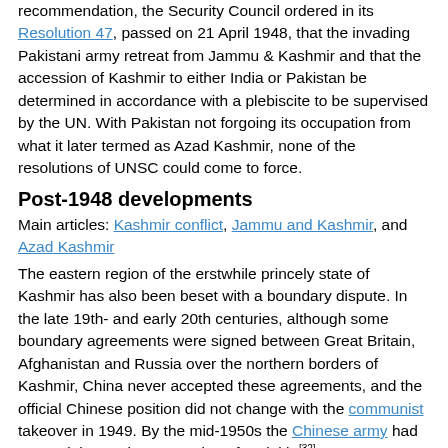recommendation, the Security Council ordered in its Resolution 47, passed on 21 April 1948, that the invading Pakistani army retreat from Jammu & Kashmir and that the accession of Kashmir to either India or Pakistan be determined in accordance with a plebiscite to be supervised by the UN. With Pakistan not forgoing its occupation from what it later termed as Azad Kashmir, none of the resolutions of UNSC could come to force.
Post-1948 developments
Main articles: Kashmir conflict, Jammu and Kashmir, and Azad Kashmir
The eastern region of the erstwhile princely state of Kashmir has also been beset with a boundary dispute. In the late 19th- and early 20th centuries, although some boundary agreements were signed between Great Britain, Afghanistan and Russia over the northern borders of Kashmir, China never accepted these agreements, and the official Chinese position did not change with the communist takeover in 1949. By the mid-1950s the Chinese army had entered the north-east portion of Ladakh.[32]
"By 1956–57 they had completed a military road